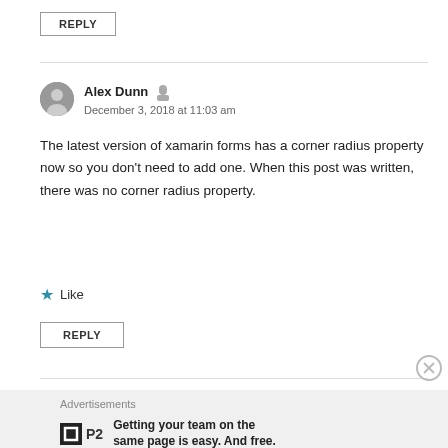REPLY
Alex Dunn
December 3, 2018 at 11:03 am
The latest version of xamarin forms has a corner radius property now so you don’t need to add one. When this post was written, there was no corner radius property.
★ Like
REPLY
Advertisements
P2 Getting your team on the same page is easy. And free.